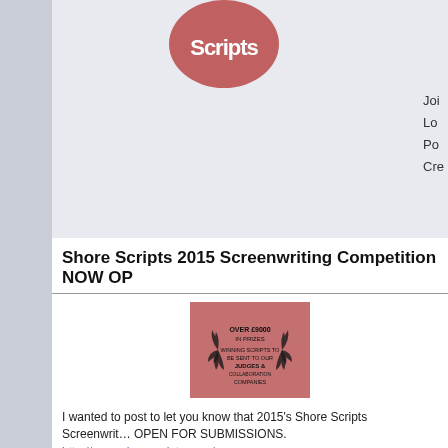[Figure (logo): Shore Scripts logo — pink/rose circle with 'Scripts' text in white]
Joi
Lo
Po
Cre
Shore Scripts 2015 Screenwriting Competition NOW OP…
[Figure (illustration): Rose/pink square badge with laurel wreath and text: OVER £9000 IN PRIZES, WINNING SCRIPTS TO BE SENT TO OUR JUDGES & COLLABORATION COMPANIES]
I wanted to post to let you know that 2015's Shore Scripts Screenwrit… OPEN FOR SUBMISSIONS. http://www.shorescripts.com/
Shore Scripts has grown from year to year. We have over 100 Produc… onboard to read this years top scripts. As well as that, 21 Oscar & BA… Judges will read our Winners screenplays. They can all be seen below away £9000+ in cash and prizes to our Feature & Short Winners.
Our goal is to help kick start the careers of upcoming screenwriters. W… Production Companies and Agents onboard, we believe Shore Scripts… for writers to get noticed.
You can Enter your Feature here: http://www.shorescripts.com/shore-s…
You can Enter your Short here: http://www.shorescripts.com/shore-sc…
Here are our full list of our Judges and a handful of the Production Co…